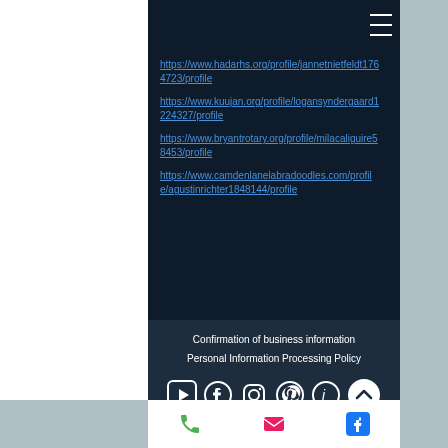https://www.hadarhs.org/profile/jannetnietfeldt1764723/profile
https://www.kuujan.org/profile/logansyndergaard1224327/profile
https://www.bryantrotary.org/profile/milacaliguire58453/profile
https://www.camdenlanelabradoodles.com/profile/agustinrichter1848144/profile
Confirmation of business information
Personal Information Processing Policy
[Figure (screenshot): Row of social media icons: YouTube, Facebook, Instagram, Pinterest, LinkedIn, and a scroll-to-top button]
[Figure (logo): KAKAOTALK yellow button]
[Figure (screenshot): Bottom navigation bar with phone, email, and Facebook icons]